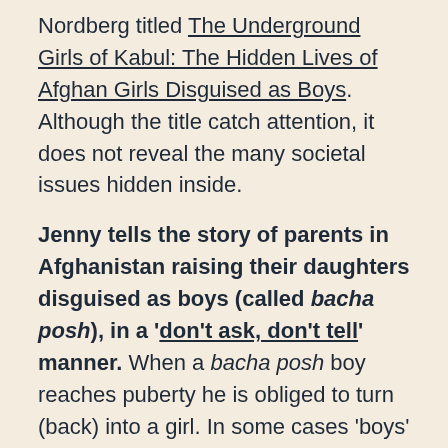Nordberg titled The Underground Girls of Kabul: The Hidden Lives of Afghan Girls Disguised as Boys. Although the title catch attention, it does not reveal the many societal issues hidden inside.
Jenny tells the story of parents in Afghanistan raising their daughters disguised as boys (called bacha posh), in a 'don't ask, don't tell' manner. When a bacha posh boy reaches puberty he is obliged to turn (back) into a girl. In some cases 'boys' continues living as men, refusing to become a woman destined for